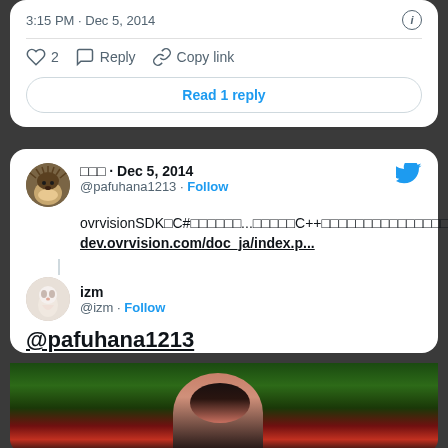3:15 PM · Dec 5, 2014
♡ 2  Reply  Copy link
Read 1 reply
□□□ · Dec 5, 2014
@pafuhana1213 · Follow
ovrvisionSDK□C#□□□□□□...□□□□□C++□□□□□□□□□□□□□□□
dev.ovrvision.com/doc_ja/index.p...
izm
@izm · Follow
@pafuhana1213
[Figure (photo): Photo of a person partially visible, dark background with green foliage]